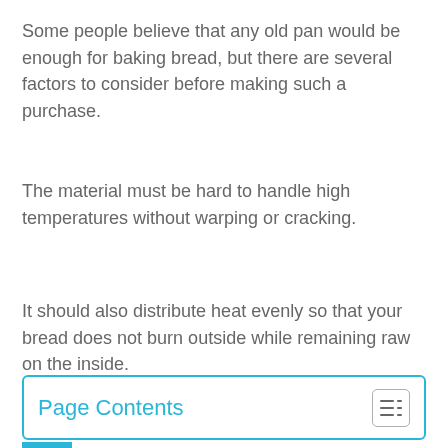Some people believe that any old pan would be enough for baking bread, but there are several factors to consider before making such a purchase.
The material must be hard to handle high temperatures without warping or cracking.
It should also distribute heat evenly so that your bread does not burn outside while remaining raw on the inside.
Page Contents